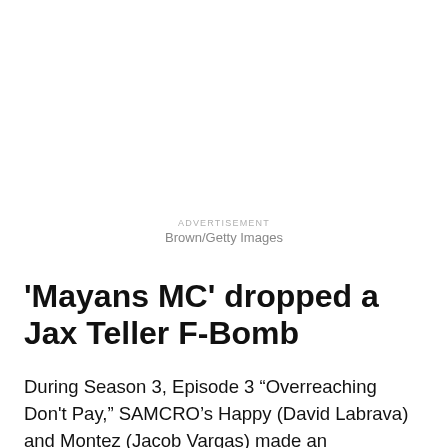ADVERTISEMENT
Brown/Getty Images
'Mayans MC' dropped a Jax Teller F-Bomb
During Season 3, Episode 3 “Overreaching Don't Pay,” SAMCRO’s Happy (David Labrava) and Montez (Jacob Vargas) made an appearance. The duo showed up to pass on some “advice,” letting the Mayans know that they need to let the Sons know when they’re passing through.